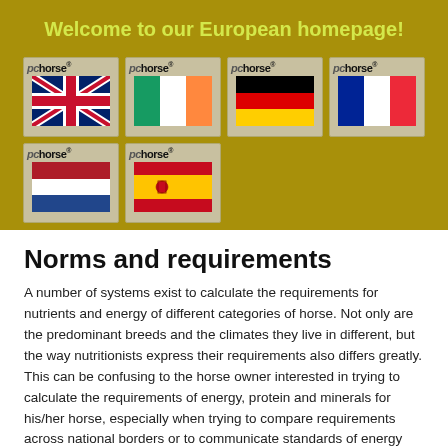Welcome to our European homepage!
[Figure (illustration): Six PCHorse flag icons arranged in a 4+2 grid: UK (Union Jack), Ireland, Germany, France, Netherlands, Spain flags each with PCHorse logo above]
Norms and requirements
A number of systems exist to calculate the requirements for nutrients and energy of different categories of horse. Not only are the predominant breeds and the climates they live in different, but the way nutritionists express their requirements also differs greatly. This can be confusing to the horse owner interested in trying to calculate the requirements of energy, protein and minerals for his/her horse, especially when trying to compare requirements across national borders or to communicate standards of energy and protein requirements under circumstances where the basis for the calculation of requirements